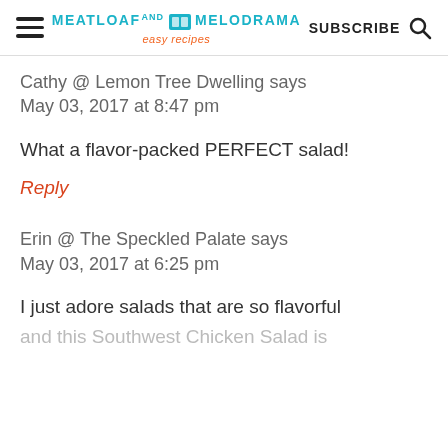MEATLOAF AND MELODRAMA easy recipes | SUBSCRIBE
Cathy @ Lemon Tree Dwelling says
May 03, 2017 at 8:47 pm
What a flavor-packed PERFECT salad!
Reply
Erin @ The Speckled Palate says
May 03, 2017 at 6:25 pm
I just adore salads that are so flavorful
and this Southwest Chicken Salad is